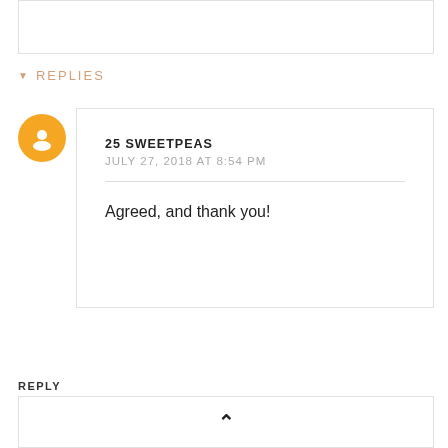REPLIES
25 SWEETPEAS
JULY 27, 2018 AT 8:54 PM
Agreed, and thank you!
REPLY